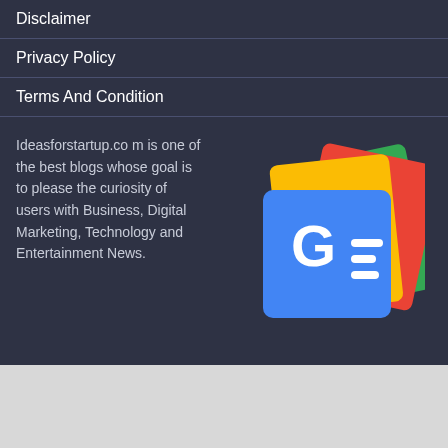Disclaimer
Privacy Policy
Terms And Condition
Ideasforstartup.com is one of the best blogs whose goal is to please the curiosity of users with Business, Digital Marketing, Technology and Entertainment News.
[Figure (logo): Google News app icon — colored card shapes (green, yellow, red) behind a blue square with white G= logo mark]